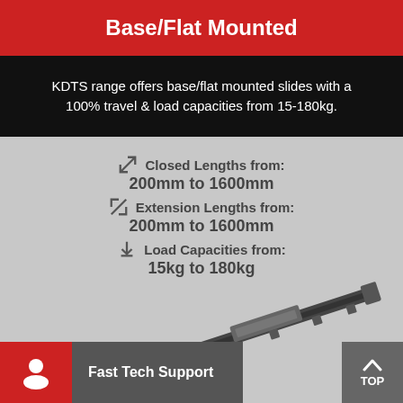Base/Flat Mounted
KDTS range offers base/flat mounted slides with a 100% travel & load capacities from 15-180kg.
Closed Lengths from: 200mm to 1600mm
Extension Lengths from: 200mm to 1600mm
Load Capacities from: 15kg to 180kg
[Figure (photo): Base/flat mounted linear slide rail product image, showing an extended slide assembly in dark grey metal]
Fast Tech Support